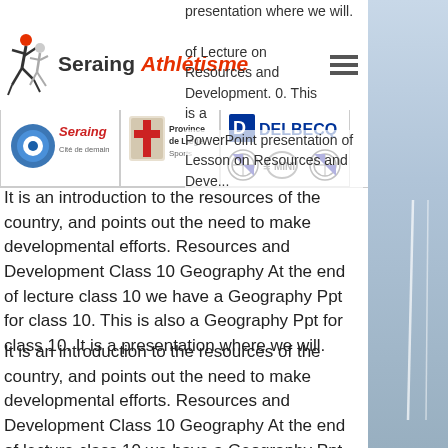[Figure (logo): Seraing Athlétisme logo with runner icon, Seraing city logo, Province de Liège Sports logo, Delbecq logo with BMW/Mini car brand icons, and hamburger menu icon]
presentation where we will. of Lecture on Resources and Development. 0. This is a PowerPoint presentation of Lesson on Resources and Development. It is an introduction to the resources of the country, and points out the need to make developmental efforts. Resources and Development Class 10 Geography At the end of lecture class 10 we have a Geography Ppt for class 10. This is also a Geography Ppt for class 10. It is a presentation where we will. It is an introduction to the resources of the country, and points out the need to make developmental efforts. Resources and Development Class 10 Geography At the end of lecture class 10 we have a Geography Ppt for class 10. This is also a Geography Ppt for class 10. It is a presentation where we will. It is an introduction to the resources of the